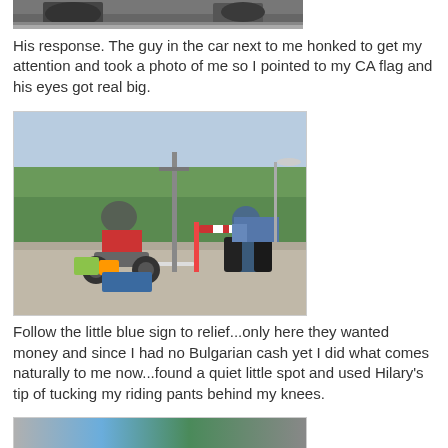[Figure (photo): Partial view of motorcyclists on a road, cropped at top]
His response. The guy in the car next to me honked to get my attention and took a photo of me so I pointed to my CA flag and his eyes got real big.
[Figure (photo): Two heavily loaded motorcyclists stopped at a border crossing or checkpoint with a barrier arm, trees in the background, one rider in red jacket with helmet]
Follow the little blue sign to relief...only here they wanted money and since I had no Bulgarian cash yet I did what comes naturally to me now...found a quiet little spot and used Hilary's tip of tucking my riding pants behind my knees.
[Figure (photo): Partial view of a blue truck parked near a building, bottom of page]